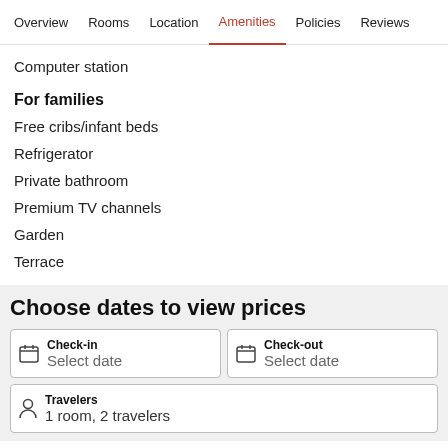Overview  Rooms  Location  Amenities  Policies  Reviews
Computer station
For families
Free cribs/infant beds
Refrigerator
Private bathroom
Premium TV channels
Garden
Terrace
Choose dates to view prices
Check-in
Select date
Check-out
Select date
Travelers
1 room, 2 travelers